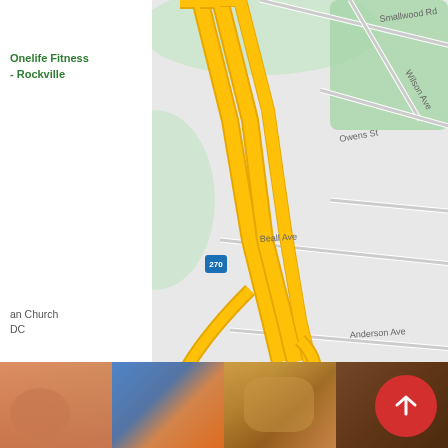[Figure (map): Google Maps screenshot showing Rockville, MD area with I-270 highway interchange, streets including Beall Ave, Anderson Ave, Brent Rd, Autumn Wind Way, Misty Knoll Dr, and landmarks including Rockville Skate Park, Welsh Park, Onelife Fitness Rockville, Rockville Seventh-day Adventist Church, First Baptist Church Rockville, T.O.R.I Cosmetics USA, Sterling Care Rockville Nursing, Robert A. Pumphrey Funeral Homes]
[Figure (photo): Photo strip at bottom showing four thumbnail photos of children/people]